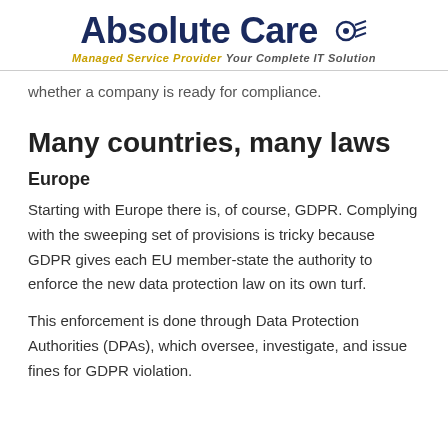Absolute Care Managed Service Provider Your Complete IT Solution
whether a company is ready for compliance.
Many countries, many laws
Europe
Starting with Europe there is, of course, GDPR. Complying with the sweeping set of provisions is tricky because GDPR gives each EU member-state the authority to enforce the new data protection law on its own turf.
This enforcement is done through Data Protection Authorities (DPAs), which oversee, investigate, and issue fines for GDPR violation.